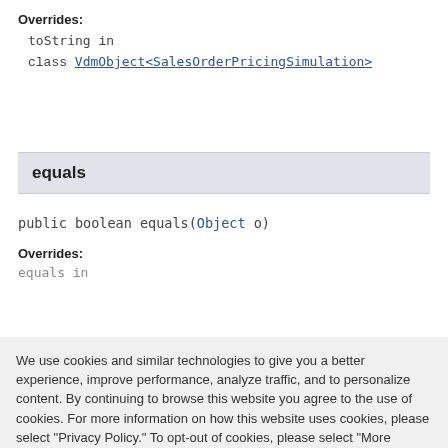Overrides:
toString in class VdmObject<SalesOrderPricingSimulation>
equals
public boolean equals(Object o)
Overrides:
equals in
We use cookies and similar technologies to give you a better experience, improve performance, analyze traffic, and to personalize content. By continuing to browse this website you agree to the use of cookies. For more information on how this website uses cookies, please select "Privacy Policy." To opt-out of cookies, please select "More Information."
Accept Cookies
More Information
Privacy Policy | Powered by: TrustArc